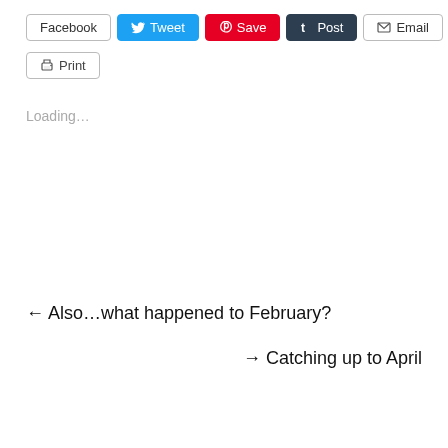[Figure (screenshot): Social sharing toolbar with Facebook, Tweet, Save (Pinterest), Post (Tumblr), Email, and Print buttons]
Loading...
← Also…what happened to February?
→ Catching up to April